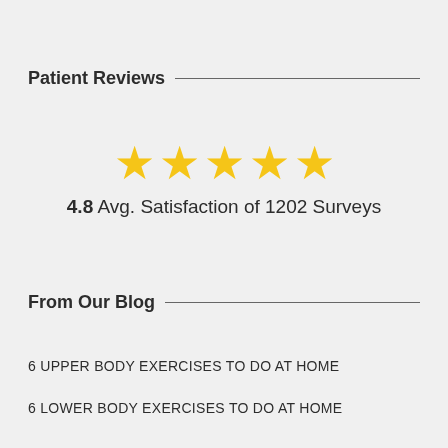Patient Reviews
[Figure (infographic): 5 gold stars rating display with text: 4.8 Avg. Satisfaction of 1202 Surveys]
From Our Blog
6 UPPER BODY EXERCISES TO DO AT HOME
6 LOWER BODY EXERCISES TO DO AT HOME